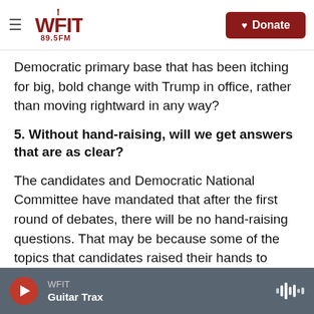WFIT 89.5FM | Donate
Democratic primary base that has been itching for big, bold change with Trump in office, rather than moving rightward in any way?
5. Without hand-raising, will we get answers that are as clear?
The candidates and Democratic National Committee have mandated that after the first round of debates, there will be no hand-raising questions. That may be because some of the topics that candidates raised their hands to favor have been revealed to not be very popular, according to an NPR/PBS NewsHour/Marist poll
WFIT | Guitar Trax